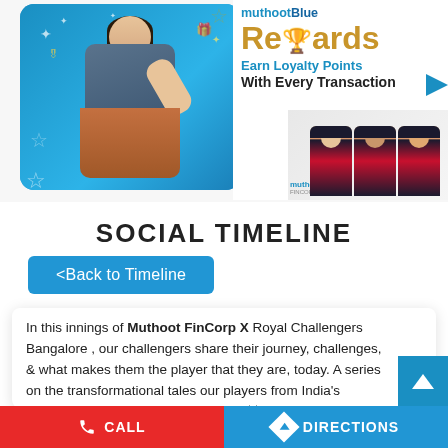[Figure (illustration): Muthoot Blue Rewards promotional banner. Left side: woman in blue background with sparkles and stars. Right side: 'MuthootBlue Rewards - Earn Loyalty Points With Every Transaction' text with RCB cricket players below.]
SOCIAL TIMELINE
<Back to Timeline
In this innings of Muthoot FinCorp X Royal Challengers Bangalore , our challengers share their journey, challenges, & what makes them the player that they are, today. A series on the transformational tales our players from India's favourite sport & your favourite team༼ ༽ #MuthootBlue